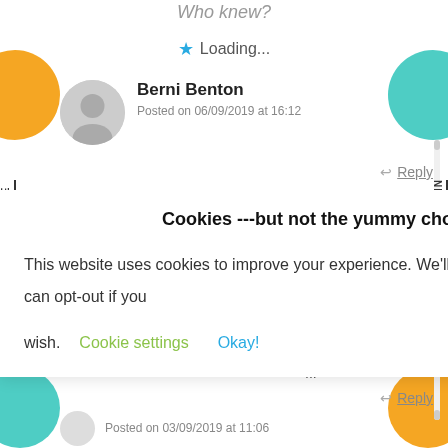Who knew?
★ Loading...
Berni Benton
Posted on 06/09/2019 at 16:12
Reply
otato
d like
we
porate
rld
games
n here
...
Reply
Posted on 03/09/2019 at 11:06
Cookies ---but not the yummy chocolate variety

This website uses cookies to improve your experience. We'll assume you're ok with this, but you can opt-out if you wish. Cookie settings Okay!